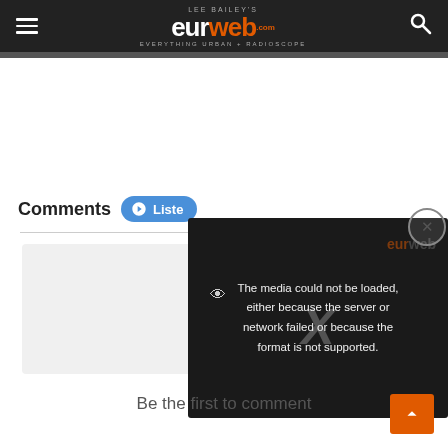Lee Bailey's eurweb.com — Everything Urban + Radioscope
Comments
[Figure (screenshot): Video player overlay showing error message: The media could not be loaded, either because the server or network failed or because the format is not supported.]
Be the first to comment